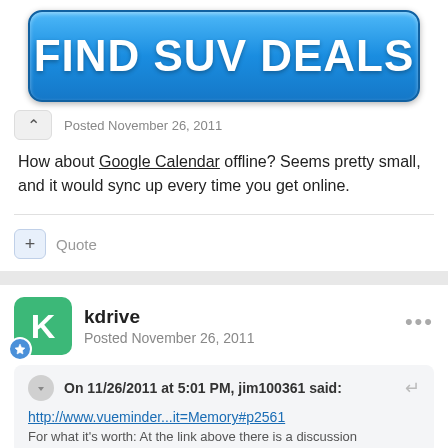[Figure (other): Advertisement banner button with blue gradient background reading FIND SUV DEALS in white bold text]
Posted November 26, 2011
How about Google Calendar offline? Seems pretty small, and it would sync up every time you get online.
Quote
kdrive
Posted November 26, 2011
On 11/26/2011 at 5:01 PM, jim100361 said:
http://www.vueminder...it=Memory#p2561
For what it's worth: At the link above there is a discussion